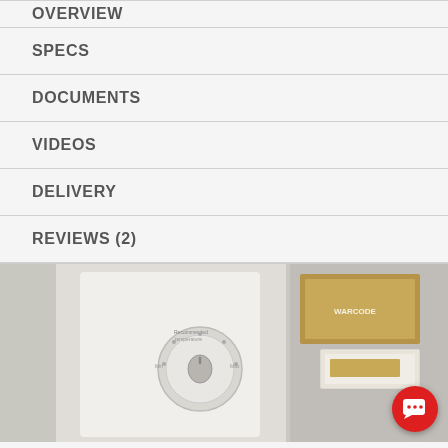OVERVIEW
SPECS
DOCUMENTS
VIDEOS
DELIVERY
REVIEWS (2)
[Figure (photo): Product image showing a white thermostat/control unit with a dial and settings, alongside product packaging boxes with gold and brown branding.]